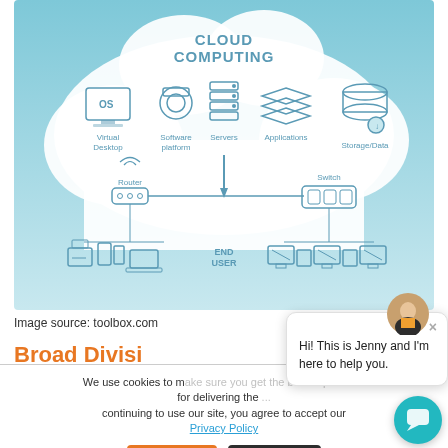[Figure (infographic): Cloud computing diagram showing a cloud labeled 'CLOUD COMPUTING' containing icons for Virtual Desktop (OS), Software platform, Servers, Applications, Storage/Data. Below the cloud is a network diagram with Router and Switch connected by a line, with an arrow from Servers pointing down. Below the network layer are END USER devices including printer, tablet, phone, laptop, desktop monitors.]
Image source: toolbox.com
Broad Divisi...
We use cookies to make sure you get the best experience for delivering the ... continuing to use our site, you agree to accept our Privacy Policy
I Accept | I Decline
Hi! This is Jenny and I'm here to help you.